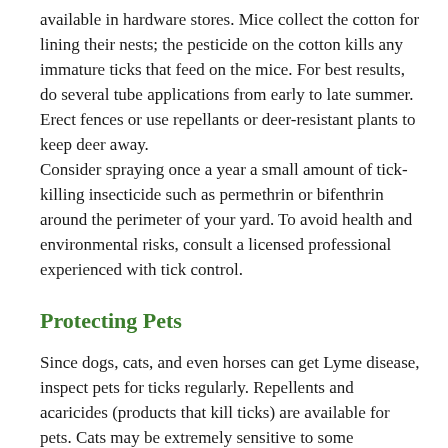available in hardware stores. Mice collect the cotton for lining their nests; the pesticide on the cotton kills any immature ticks that feed on the mice. For best results, do several tube applications from early to late summer.
Erect fences or use repellants or deer-resistant plants to keep deer away.
Consider spraying once a year a small amount of tick-killing insecticide such as permethrin or bifenthrin around the perimeter of your yard. To avoid health and environmental risks, consult a licensed professional experienced with tick control.
Protecting Pets
Since dogs, cats, and even horses can get Lyme disease, inspect pets for ticks regularly. Repellents and acaricides (products that kill ticks) are available for pets. Cats may be extremely sensitive to some products. Discuss with your veterinarian the best tick prevention product for